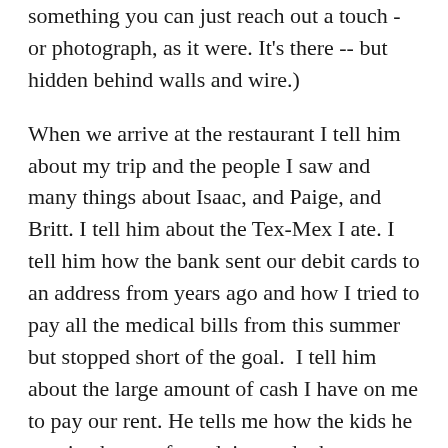something you can just reach out a touch - or photograph, as it were. It's there -- but hidden behind walls and wire.)
When we arrive at the restaurant I tell him about my trip and the people I saw and many things about Isaac, and Paige, and Britt. I tell him about the Tex-Mex I ate. I tell him how the bank sent our debit cards to an address from years ago and how I tried to pay all the medical bills from this summer but stopped short of the goal.  I tell him about the large amount of cash I have on me to pay our rent. He tells me how the kids he was in charge of are doing and who got fired and who threatened to put curses on him and who was amazing and did beautiful work and what appliances are broken at home and what we have on the calendar in the days ahead.
After our official decompress sesh we head home to see the broken appliances and the excited kids.
No matter how often I go see the big girls and grandsons in